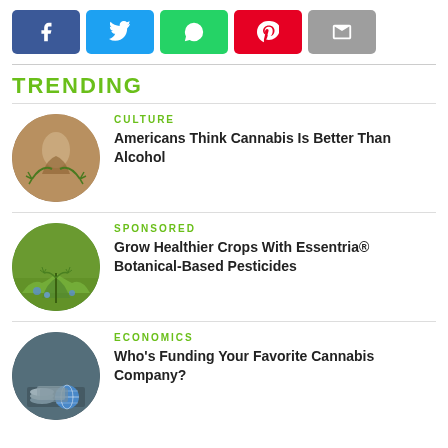[Figure (other): Social share buttons: Facebook (blue), Twitter (light blue), WhatsApp (green), Pinterest (red), Email (grey)]
TRENDING
[Figure (photo): Circular thumbnail of cannabis leaf and amber jar]
CULTURE
Americans Think Cannabis Is Better Than Alcohol
[Figure (photo): Circular thumbnail of cannabis plant growing in field with blue flowers]
SPONSORED
Grow Healthier Crops With Essentria® Botanical-Based Pesticides
[Figure (photo): Circular thumbnail of coins and currency on dark background]
ECONOMICS
Who's Funding Your Favorite Cannabis Company?